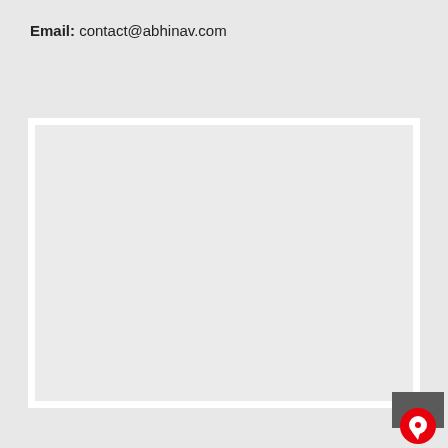Email: contact@abhinav.com
[Figure (other): Large empty light gray box with white border/frame, taking up most of the page area below the email text.]
[Figure (other): Small dark gray square in the bottom-right corner with a red circular chat icon containing a white speech bubble symbol.]